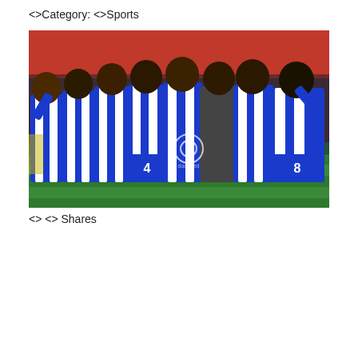<>Category: <>Sports
[Figure (photo): Football players in blue and white striped jerseys celebrating together on a grass pitch inside a stadium with red seats visible in the background. Players wearing numbers 4 and 8 are visible. A watermark logo is visible in the center of the image.]
<> <> Shares